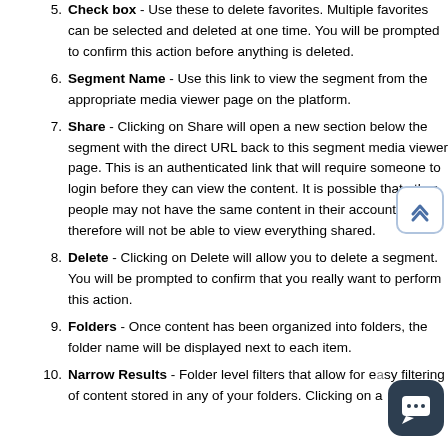Check box - Use these to delete favorites. Multiple favorites can be selected and deleted at one time. You will be prompted to confirm this action before anything is deleted.
Segment Name - Use this link to view the segment from the appropriate media viewer page on the platform.
Share - Clicking on Share will open a new section below the segment with the direct URL back to this segment media viewer page. This is an authenticated link that will require someone to login before they can view the content. It is possible that other people may not have the same content in their accounts and therefore will not be able to view everything shared.
Delete - Clicking on Delete will allow you to delete a segment. You will be prompted to confirm that you really want to perform this action.
Folders - Once content has been organized into folders, the folder name will be displayed next to each item.
Narrow Results - Folder level filters that allow for easy filtering of content stored in any of your folders. Clicking on a